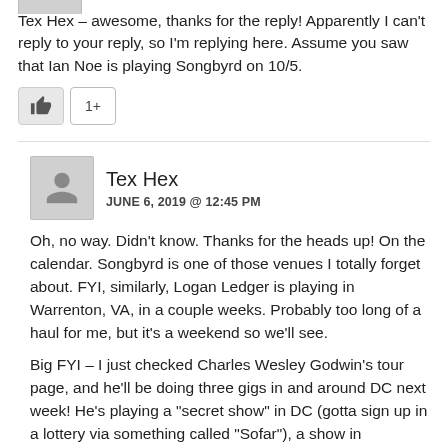Tex Hex – awesome, thanks for the reply! Apparently I can't reply to your reply, so I'm replying here. Assume you saw that Ian Noe is playing Songbyrd on 10/5.
[Figure (other): Like button (thumbs up icon) and a count button showing '1+']
Tex Hex
JUNE 6, 2019 @ 12:45 PM
Oh, no way. Didn't know. Thanks for the heads up! On the calendar. Songbyrd is one of those venues I totally forget about. FYI, similarly, Logan Ledger is playing in Warrenton, VA, in a couple weeks. Probably too long of a haul for me, but it's a weekend so we'll see.
Big FYI – I just checked Charles Wesley Godwin's tour page, and he'll be doing three gigs in and around DC next week! He's playing a "secret show" in DC (gotta sign up in a lottery via something called "Sofar"), a show in Frederick, MD, and another in Winchester, VA.